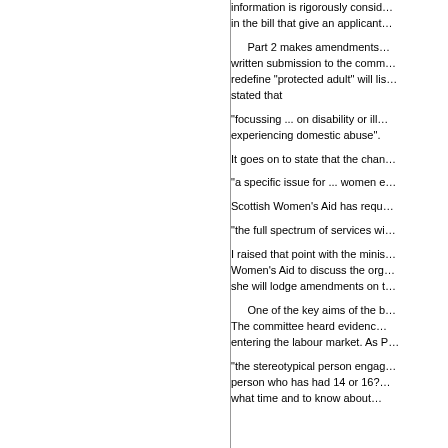information is rigorously consid... in the bill that give an applicant...
Part 2 makes amendments... written submission to the comm... redefine "protected adult" will lis... stated that
"focussing ... on disability or ill... experiencing domestic abuse".
It goes on to state that the chan...
"a specific issue for ... women e...
Scottish Women's Aid has requ...
"the full spectrum of services wi...
I raised that point with the minis... Women's Aid to discuss the org... she will lodge amendments on t...
One of the key aims of the b... The committee heard evidenc... entering the labour market. As P...
"the stereotypical person engag... person who has had 14 or 16?... what time and to know about...